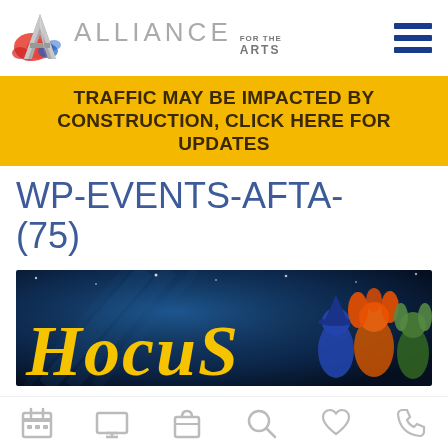[Figure (logo): Alliance for the Arts logo with colorful A icon and text 'ALLIANCE FOR THE ARTS' with hamburger menu icon]
TRAFFIC MAY BE IMPACTED BY CONSTRUCTION, CLICK HERE FOR UPDATES
WP-EVENTS-AFTA-(75)
[Figure (photo): Dark blue background with 'Hocus' text in yellow stylized font, with animated witch character figures on the right side]
Navigation icon bar with calendar, image, bag, search, heart, and phone icons